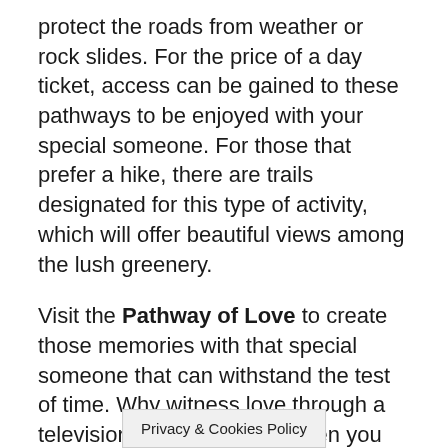protect the roads from weather or rock slides. For the price of a day ticket, access can be gained to these pathways to be enjoyed with your special someone. For those that prefer a hike, there are trails designated for this type of activity, which will offer beautiful views among the lush greenery.
Visit the Pathway of Love to create those memories with that special someone that can withstand the test of time. Why witness love through a television screen or book when you can experience it for yourself? This romantic walkway offers and enchanting feel in the air, allowing you to experience Italy in a unique way in an effort to create one of the best love stories you could ever imagine...your own. The experience will be unforgettable and the memories will last a lifetime.
Posted in 2014, Cicero, Culture, Fun Facts and Curiosities
Privacy & Cookies Policy